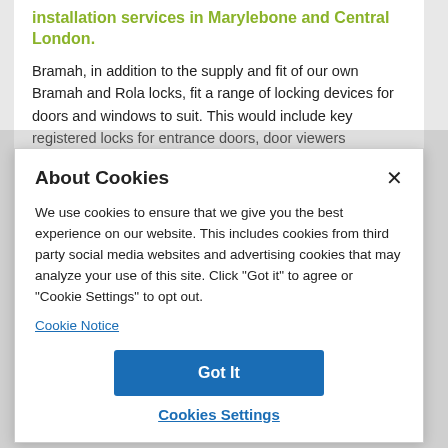installation services in Marylebone and Central London.
Bramah, in addition to the supply and fit of our own Bramah and Rola locks, fit a range of locking devices for doors and windows to suit. This would include key registered locks for entrance doors, door viewers
About Cookies
We use cookies to ensure that we give you the best experience on our website. This includes cookies from third party social media websites and advertising cookies that may analyze your use of this site. Click "Got it" to agree or "Cookie Settings" to opt out.
Cookie Notice
Got It
Cookies Settings